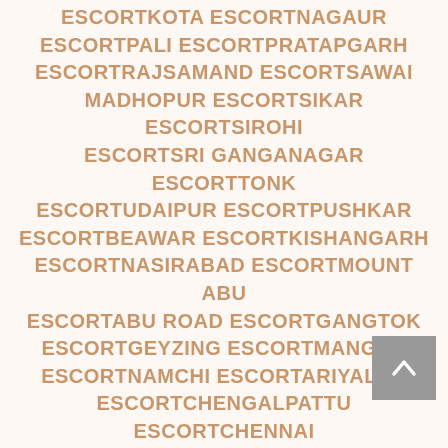ESCORTKOTA ESCORTNAGAUR ESCORTPALI ESCORTPRATAPGARH ESCORTRAJSAMAND ESCORTSAWAI MADHOPUR ESCORTSIKAR ESCORTSIROHI ESCORTSRI GANGANAGAR ESCORTTONK ESCORTUDAIPUR ESCORTPUSHKAR ESCORTBEAWAR ESCORTKISHANGARH ESCORTNASIRABAD ESCORTMOUNT ABU ESCORTABU ROAD ESCORTGANGTOK ESCORTGEYZING ESCORTMANGAN ESCORTNAMCHI ESCORTARIYALUR ESCORTCHENGALPATTU ESCORTCHENNAI ESCORTCOIMBATORE ESCORTCUDDALORE ESCORTDHARMAPURI ESCORTDINDIGUL ESCORTERODE ESCORTKALLAKURICHI ESCORTKANCHIPURAM ESCORTKANYAKUMARI ESCORTKARUR ESCORTKRISHNAGIRI ESCORTMADURAI ESCORTMAYILADUTHURAI ESCORTNAGAPATTINAM ESCORTNAMAKKAL ESCORTNILGIRIS ESCORTPERAMBALUR